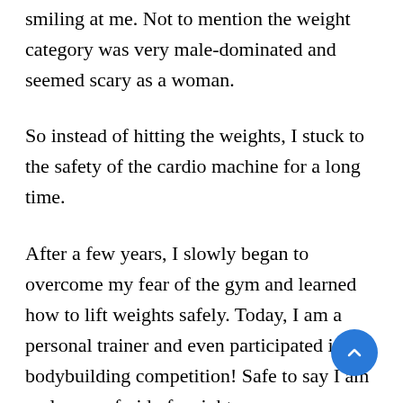smiling at me. Not to mention the weight category was very male-dominated and seemed scary as a woman.
So instead of hitting the weights, I stuck to the safety of the cardio machine for a long time.
After a few years, I slowly began to overcome my fear of the gym and learned how to lift weights safely. Today, I am a personal trainer and even participated in a bodybuilding competition! Safe to say I am no longer afraid of weight.
Here are my tips for overcoming “gym-timedat and building confidence in the gym.